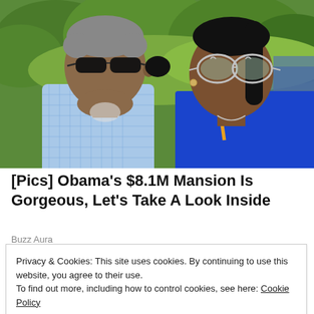[Figure (photo): Two people wearing sunglasses outdoors with lush green trees and landscape in the background. The person on the left wears a blue checkered shirt and dark sunglasses; the person on the right wears a blue top and heart-shaped silver sunglasses.]
[Pics] Obama's $8.1M Mansion Is Gorgeous, Let's Take A Look Inside
Buzz Aura
Privacy & Cookies: This site uses cookies. By continuing to use this website, you agree to their use.
To find out more, including how to control cookies, see here: Cookie Policy
Close and accept